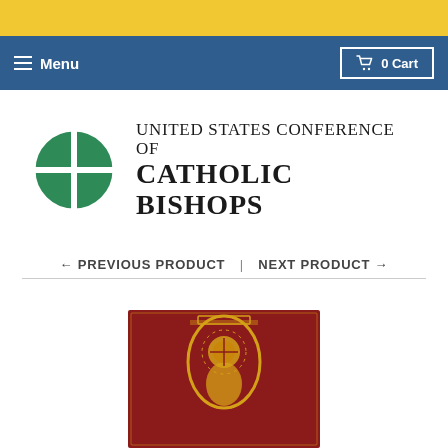☰ Menu   🛒 0 Cart
[Figure (logo): United States Conference of Catholic Bishops logo with green quartered circle and text]
← PREVIOUS PRODUCT  |  NEXT PRODUCT →
[Figure (photo): Red book cover with gold Byzantine-style image of Christ in a mandorla/arch surrounded by a halo with rays]